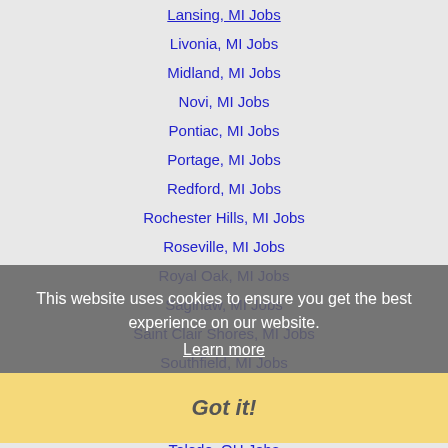Lansing, MI Jobs
Livonia, MI Jobs
Midland, MI Jobs
Novi, MI Jobs
Pontiac, MI Jobs
Portage, MI Jobs
Redford, MI Jobs
Rochester Hills, MI Jobs
Roseville, MI Jobs
Royal Oak, MI Jobs
Saginaw, MI Jobs
Saint Clair Shores, MI Jobs
Southfield, MI Jobs
Sterling Heights, MI Jobs
Taylor, MI Jobs
Toledo, OH Jobs
Troy, MI Jobs
Warren, MI Jobs
This website uses cookies to ensure you get the best experience on our website. Learn more Got it!